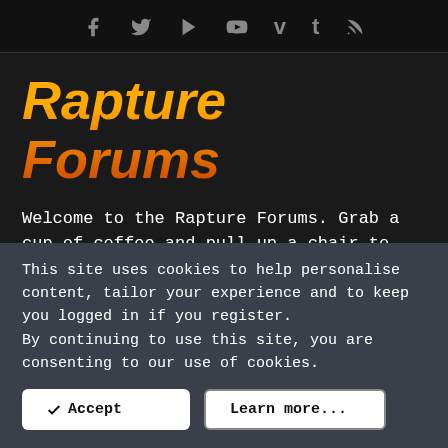f  𝕥  ▶  v  t  RSS (social media icons)
Rapture Forums
Welcome to the Rapture Forums. Grab a cup of coffee and pull up a chair to join us on the forums as await the return of Jesus Christ. God bless you!
Online statistics
Members online:    34
This site uses cookies to help personalise content, tailor your experience and to keep you logged in if you register.
By continuing to use this site, you are consenting to our use of cookies.